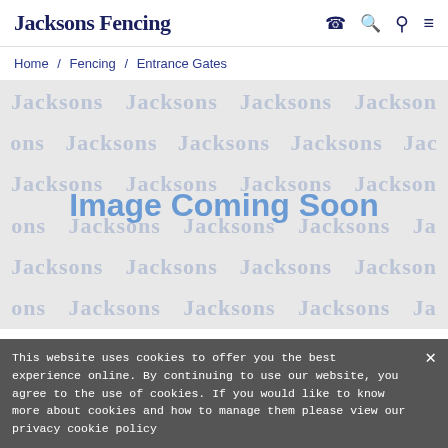Jacksons Fencing
Home / Fencing / Entrance Gates
[Figure (illustration): Image Coming Soon placeholder with Jacksons watermark repeated in grid pattern on grey background]
TRADITIONAL WOODEN ENTRANCE GATES
A traditional handcrafted timber entry gate that is both stylish and sturdy. All fixings are built to last. Guaranteed for 25-years.
★★★★★
This website uses cookies to offer you the best experience online. By continuing to use our website, you agree to the use of cookies. If you would like to know more about cookies and how to manage them please view our privacy cookie policy